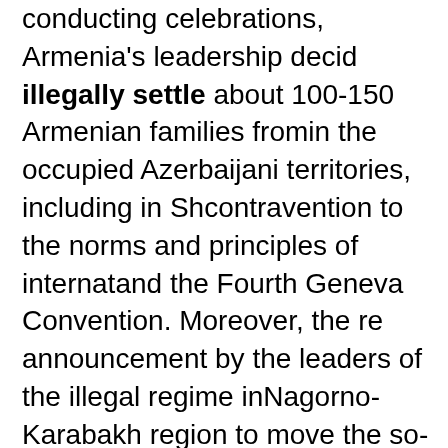conducting celebrations, Armenia's leadership decided to illegally settle about 100-150 Armenian families from in the occupied Azerbaijani territories, including in Shusha, in contravention to the norms and principles of international law and the Fourth Geneva Convention. Moreover, the recent announcement by the leaders of the illegal regime in the Nagorno-Karabakh region to move the so-called parliament to Shusha is highly provocative and stands out as a vivid example of cultural revanchism employed by Pashinyan Government.
Furthermore, at the end of August, Anna Hakobyan — wife of Nikol Pashinyan, participated in publicized military training in the occupied territories of Azerbaijan; her posturing, targeting Azerbaijani subjects, went viral on social media. This came only one year after her famous call for peace. Furthermore, this military posture of Anna Hakobyan is nothing new, as previously in 2018, Pashinyan and his wife sent their...